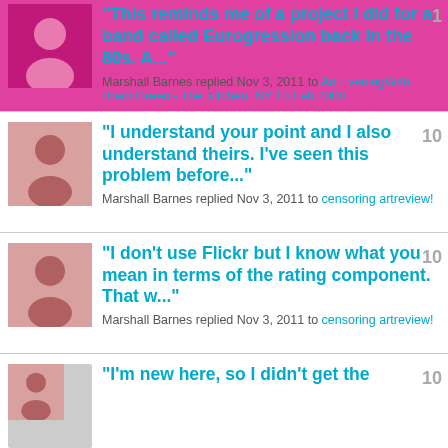"This reminds me of a project I did for a band called Eurogression back in the 80s. A..."
Marshall Barnes replied Nov 3, 2011 to An EveningWith Brent Green - The Kitchen, NY 13 Feb 2008
"I understand your point and I also understand theirs. I've seen this problem before..."
Marshall Barnes replied Nov 3, 2011 to censoring artreview!
"I don't use Flickr but I know what you mean in terms of the rating component. That w..."
Marshall Barnes replied Nov 3, 2011 to censoring artreview!
"I'm new here, so I didn't get the